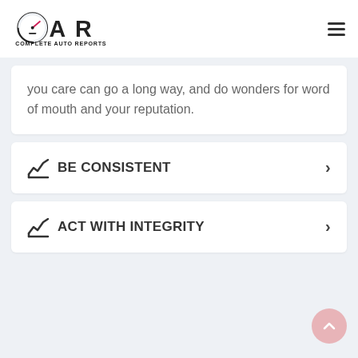[Figure (logo): Complete Auto Reports (CAR) logo with speedometer icon and text COMPLETE AUTO REPORTS below]
you care can go a long way, and do wonders for word of mouth and your reputation.
BE CONSISTENT
ACT WITH INTEGRITY